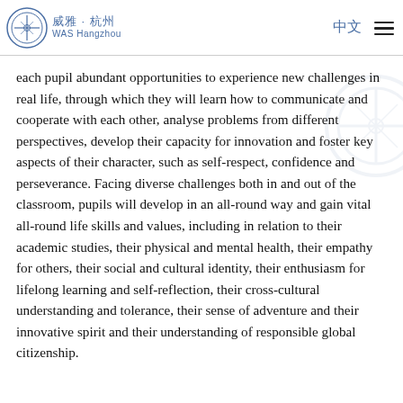威雅·杭州 WAS Hangzhou | 中文 ☰
each pupil abundant opportunities to experience new challenges in real life, through which they will learn how to communicate and cooperate with each other, analyse problems from different perspectives, develop their capacity for innovation and foster key aspects of their character, such as self-respect, confidence and perseverance. Facing diverse challenges both in and out of the classroom, pupils will develop in an all-round way and gain vital all-round life skills and values, including in relation to their academic studies, their physical and mental health, their empathy for others, their social and cultural identity, their enthusiasm for lifelong learning and self-reflection, their cross-cultural understanding and tolerance, their sense of adventure and their innovative spirit and their understanding of responsible global citizenship.